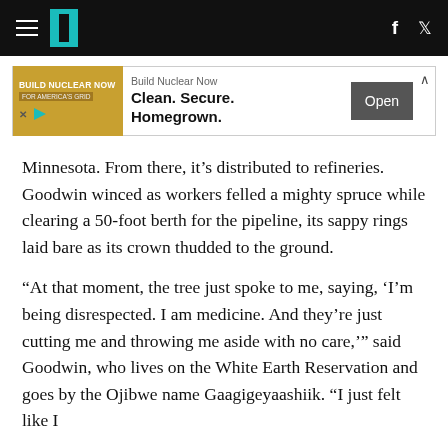HuffPost navigation with hamburger menu, logo, Facebook and Twitter icons
[Figure (other): Advertisement banner: Build Nuclear Now – Clean. Secure. Homegrown. with Open button]
Minnesota. From there, it's distributed to refineries. Goodwin winced as workers felled a mighty spruce while clearing a 50-foot berth for the pipeline, its sappy rings laid bare as its crown thudded to the ground.
“At that moment, the tree just spoke to me, saying, ‘I’m being disrespected. I am medicine. And they’re just cutting me and throwing me aside with no care,’” said Goodwin, who lives on the White Earth Reservation and goes by the Ojibwe name Gaagigeyaashiik. “I just felt like I